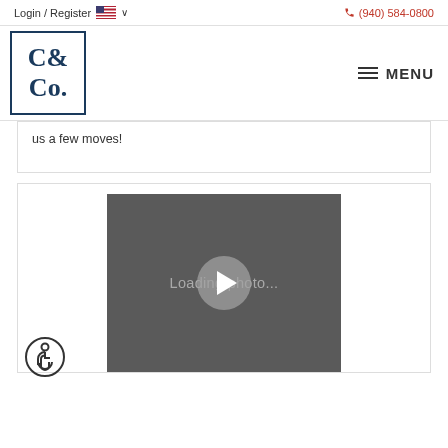Login / Register  🇺🇸 ∨   (940) 584-0800
[Figure (logo): C&Co. logo in serif font inside a square border]
≡ MENU
us a few moves!
[Figure (screenshot): Video player showing 'Loading photo...' with a play button overlay on a dark grey background]
[Figure (illustration): Accessibility icon — wheelchair user symbol in a circle]